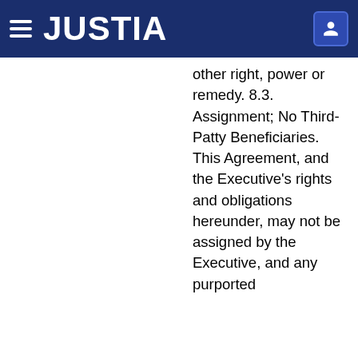JUSTIA
other right, power or remedy. 8.3. Assignment; No Third-Patty Beneficiaries. This Agreement, and the Executive's rights and obligations hereunder, may not be assigned by the Executive, and any purported